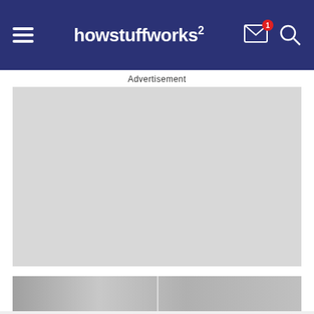howstuffworks
Advertisement
[Figure (other): Advertisement placeholder box (light gray rectangle)]
[Figure (photo): Partial photo strip visible at bottom of page, appears to show grayscale image content]